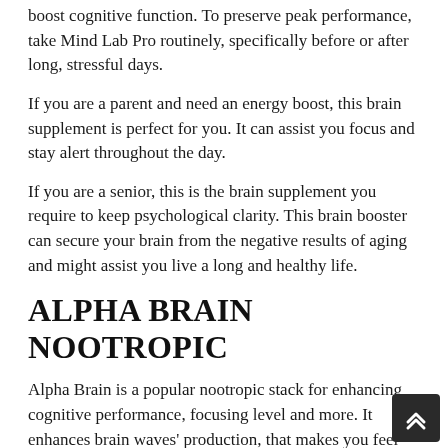boost cognitive function. To preserve peak performance, take Mind Lab Pro routinely, specifically before or after long, stressful days.
If you are a parent and need an energy boost, this brain supplement is perfect for you. It can assist you focus and stay alert throughout the day.
If you are a senior, this is the brain supplement you require to keep psychological clarity. This brain booster can secure your brain from the negative results of aging and might assist you live a long and healthy life.
ALPHA BRAIN NOOTROPIC
Alpha Brain is a popular nootropic stack for enhancing cognitive performance, focusing level and more. It enhances brain waves' production, that makes you feel calmer and more focused. It also